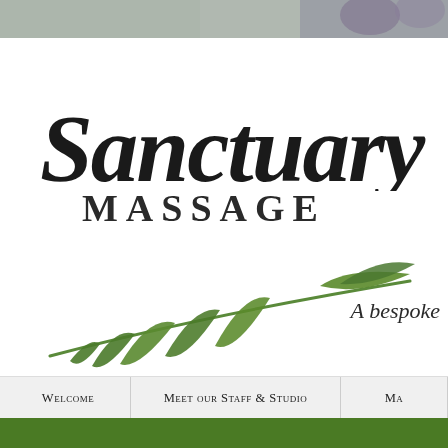[Figure (photo): Partial view of floral/lavender photo at top of webpage header]
[Figure (logo): Sanctuary Massage logo with cursive 'Sanctuary' text, 'MASSAGE' in small caps below, and a green leaf/branch illustration]
A bespoke
Welcome | Meet our Staff & Studio | Ma
[Figure (other): Green navigation bar with partial white circle at bottom of page]